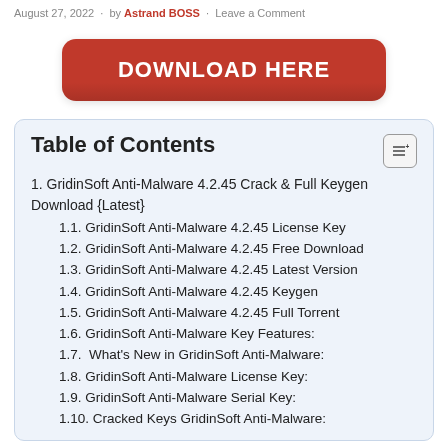August 27, 2022  ·  by Astrand BOSS  ·  Leave a Comment
[Figure (other): Red download button with text 'DOWNLOAD HERE']
Table of Contents
1. GridinSoft Anti-Malware 4.2.45 Crack & Full Keygen Download {Latest}
1.1. GridinSoft Anti-Malware 4.2.45 License Key
1.2. GridinSoft Anti-Malware 4.2.45 Free Download
1.3. GridinSoft Anti-Malware 4.2.45 Latest Version
1.4. GridinSoft Anti-Malware 4.2.45 Keygen
1.5. GridinSoft Anti-Malware 4.2.45 Full Torrent
1.6. GridinSoft Anti-Malware Key Features:
1.7.  What's New in GridinSoft Anti-Malware:
1.8. GridinSoft Anti-Malware License Key:
1.9. GridinSoft Anti-Malware Serial Key:
1.10. Cracked Keys GridinSoft Anti-Malware: